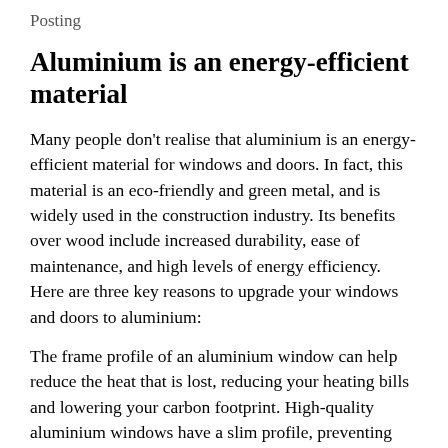Posting
Aluminium is an energy-efficient material
Many people don't realise that aluminium is an energy-efficient material for windows and doors. In fact, this material is an eco-friendly and green metal, and is widely used in the construction industry. Its benefits over wood include increased durability, ease of maintenance, and high levels of energy efficiency. Here are three key reasons to upgrade your windows and doors to aluminium:
The frame profile of an aluminium window can help reduce the heat that is lost, reducing your heating bills and lowering your carbon footprint. High-quality aluminium windows have a slim profile, preventing excessive heat gain or loss. You should look for double-coated or tinted glass if you are concerned